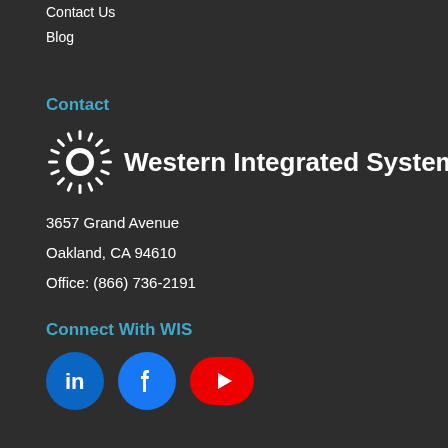Contact Us
Blog
Contact
[Figure (logo): Western Integrated Systems logo with sunburst icon and company name]
3657 Grand Avenue
Oakland, CA 94610
Office: (866) 736-2191
Connect With WIS
[Figure (infographic): Social media icon buttons: LinkedIn (blue circle), Facebook (blue circle), YouTube (red rounded rectangle)]